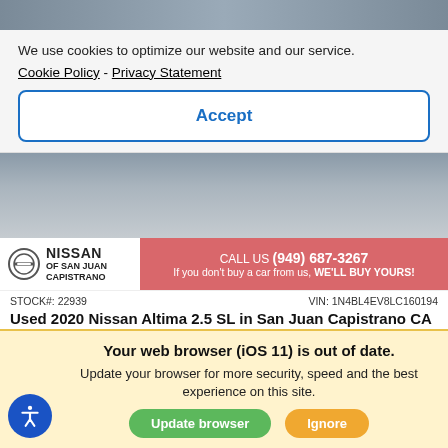[Figure (photo): Top portion of a car image, cropped at the top of the page]
We use cookies to optimize our website and our service.
Cookie Policy - Privacy Statement
Accept
[Figure (photo): Middle portion showing car wheel area and rear bumper of a dark colored car]
NISSAN OF SAN JUAN CAPISTRANO
CALL US (949) 687-3267 If you don't buy a car from us, WE'LL BUY YOURS!
STOCK#: 22939
VIN: 1N4BL4EV8LC160194
Used 2020 Nissan Altima 2.5 SL in San Juan Capistrano CA
2.5 SL Sedan 4dr Car 1-Speed CVT w/OD
62,714 Miles
RETAIL PRICE $29,559
Your web browser (iOS 11) is out of date. Update your browser for more security, speed and the best experience on this site.
Update browser
Ignore